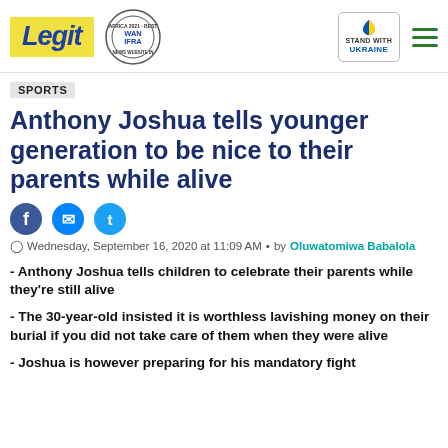Legit — WAN IFRA 2021 Best News Website in Africa — STAND WITH UKRAINE
SPORTS
Anthony Joshua tells younger generation to be nice to their parents while alive
Wednesday, September 16, 2020 at 11:09 AM • by Oluwatomiwa Babalola
- Anthony Joshua tells children to celebrate their parents while they're still alive
- The 30-year-old insisted it is worthless lavishing money on their burial if you did not take care of them when they were alive
- Joshua is however preparing for his mandatory fight